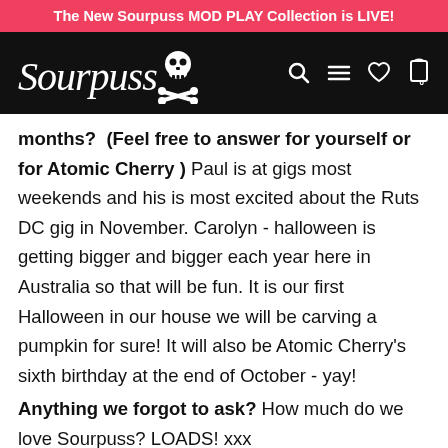The New Sourpuss MOD PLAY Collection is LIVE!
[Figure (logo): Sourpuss clothing brand logo with skull and crossbones on black navigation bar with search, menu, heart, and cart icons]
months?  (Feel free to answer for yourself or for Atomic Cherry ) Paul is at gigs most weekends and his is most excited about the Ruts DC gig in November. Carolyn - halloween is getting bigger and bigger each year here in Australia so that will be fun. It is our first Halloween in our house we will be carving a pumpkin for sure! It will also be Atomic Cherry's sixth birthday at the end of October - yay!
Anything we forgot to ask? How much do we love Sourpuss? LOADS! xxx
Follow all the latest going's-on at Atomic Cherry at all